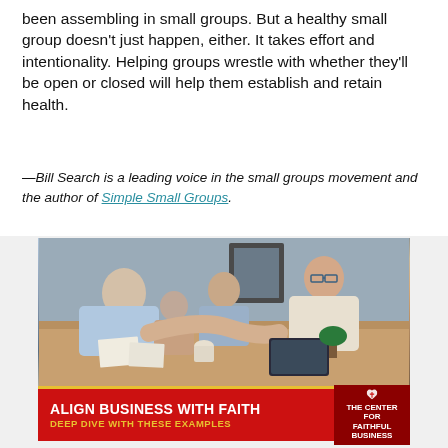been assembling in small groups. But a healthy small group doesn't just happen, either. It takes effort and intentionality. Helping groups wrestle with whether they'll be open or closed will help them establish and retain health.
—Bill Search is a leading voice in the small groups movement and the author of Simple Small Groups.
[Figure (photo): Advertisement showing a group of business people shaking hands around a conference table. Below the photo is a red banner with gold accent line reading 'ALIGN BUSINESS WITH FAITH' in white bold text and 'DEEP DIVE WITH THESE EXAMPLES' in gold text. A logo for 'The Center for FAITHFUL BUSINESS' appears on the right side of the banner.]